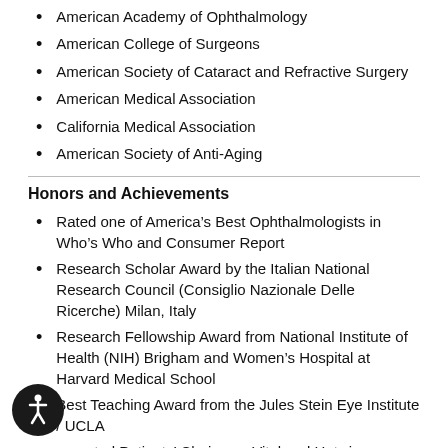American Academy of Ophthalmology
American College of Surgeons
American Society of Cataract and Refractive Surgery
American Medical Association
California Medical Association
American Society of Anti-Aging
Honors and Achievements
Rated one of America's Best Ophthalmologists in Who's Who and Consumer Report
Research Scholar Award by the Italian National Research Council (Consiglio Nazionale Delle Ricerche) Milan, Italy
Research Fellowship Award from National Institute of Health (NIH) Brigham and Women's Hospital at Harvard Medical School
Best Teaching Award from the Jules Stein Eye Institute / UCLA
Rated Patients' Choice on Vital and Hotwire.com
Voted Best Doctor, by 400,000 users of HealthTap